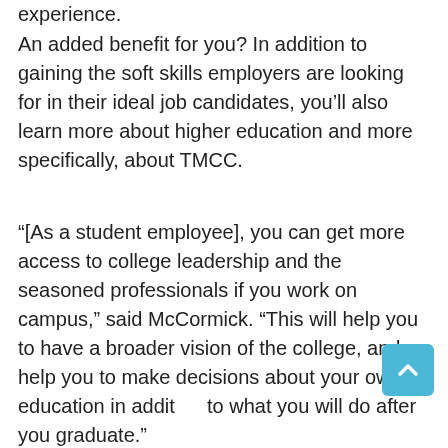experience.
An added benefit for you? In addition to gaining the soft skills employers are looking for in their ideal job candidates, you'll also learn more about higher education and more specifically, about TMCC.
“[As a student employee], you can get more access to college leadership and the seasoned professionals if you work on campus,” said McCormick. “This will help you to have a broader vision of the college, and help you to make decisions about your own education in addition to what you will do after you graduate.”